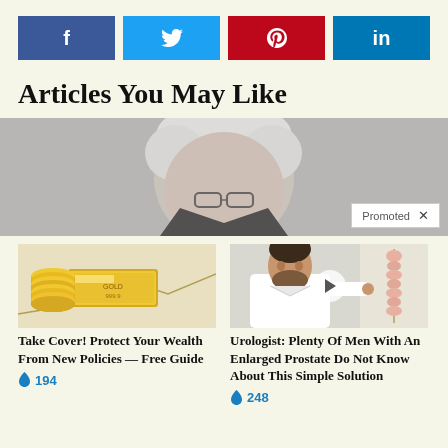[Figure (other): Social media share buttons: Facebook (f), Twitter (bird icon), Pinterest (p), LinkedIn (in)]
Articles You May Like
[Figure (photo): Elderly man with white hair seen from behind/side, wearing glasses, with a 'Promoted X' badge overlay in the bottom right]
[Figure (photo): Gold bar on financial chart paper]
Take Cover! Protect Your Wealth From New Policies — Free Guide
🔥 194
[Figure (photo): Doctor in white coat pointing at anatomical spine chart on wall, with a video play button overlay]
Urologist: Plenty Of Men With An Enlarged Prostate Do Not Know About This Simple Solution
🔥 248